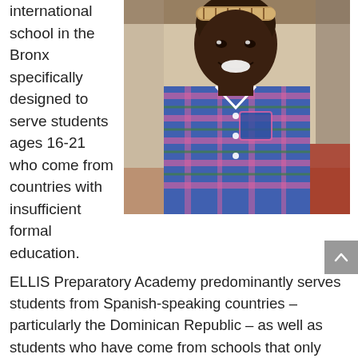international school in the Bronx specifically designed to serve students ages 16-21 who come from countries with insufficient formal education.
[Figure (photo): Portrait photo of a young female student smiling, wearing a blue and pink plaid shirt and a patterned headband, seated indoors.]
ELLIS Preparatory Academy predominantly serves students from Spanish-speaking countries – particularly the Dominican Republic – as well as students who have come from schools that only offer part-time or limited instruction, or even schools that only teach religious texts. Because of this, the school serves a diverse spectrum of students.